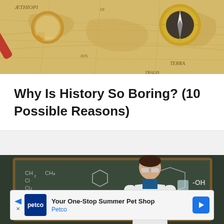[Figure (photo): Old antique map with a red and gold magnifying glass and a brass compass on top]
Why Is History So Boring? (10 Possible Reasons)
[Figure (photo): Young man in white lab coat and safety goggles holding two glass beakers, standing in front of a chalkboard with chemical formulas]
Your One-Stop Summer Pet Shop — Petco (advertisement)